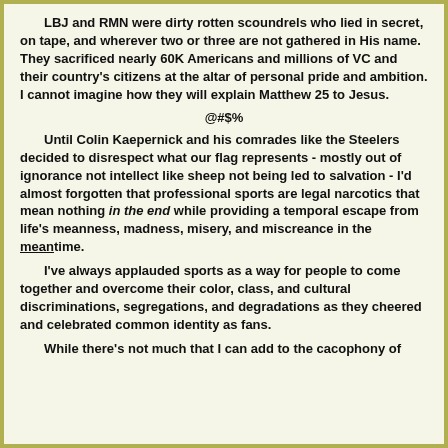LBJ and RMN were dirty rotten scoundrels who lied in secret, on tape, and wherever two or three are not gathered in His name. They sacrificed nearly 60K Americans and millions of VC and their country's citizens at the altar of personal pride and ambition.  I cannot imagine how they will explain Matthew 25 to Jesus.
@#$%
Until Colin Kaepernick and his comrades like the Steelers decided to disrespect what our flag represents - mostly out of ignorance not intellect like sheep not being led to salvation - I'd almost forgotten that professional sports are legal narcotics that mean nothing in the end while providing a temporal escape from life's meanness, madness, misery, and miscreance in the meantime.
I've always applauded sports as a way for people to come together and overcome their color, class, and cultural discriminations, segregations, and degradations as they cheered and celebrated common identity as fans.
While there's not much that I can add to the cacophony of